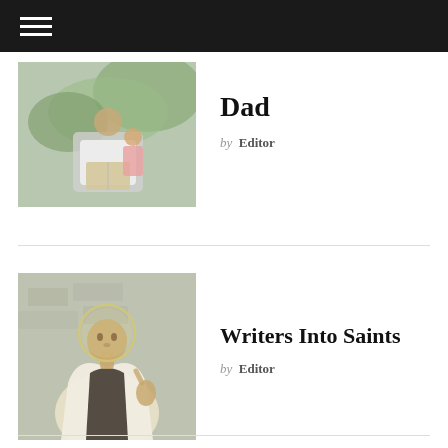[Navigation menu / hamburger icon]
[Figure (photo): Person sitting outdoors reading a book with a child, casual setting with greenery in background]
Dad
by Editor
[Figure (photo): Painting or illustration of a robed saint figure with halo, gesturing upward, against stone background]
Writers Into Saints
by Editor